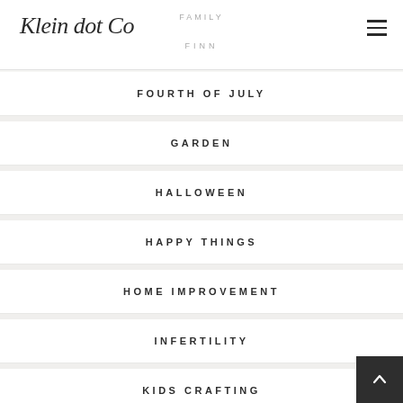Klein dot Co | FAMILY | FINN
FOURTH OF JULY
GARDEN
HALLOWEEN
HAPPY THINGS
HOME IMPROVEMENT
INFERTILITY
KIDS CRAFTING
LIFE